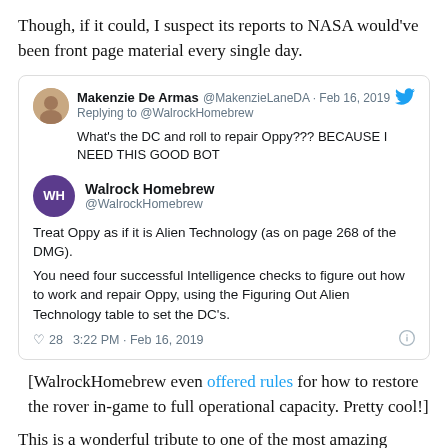Though, if it could, I suspect its reports to NASA would've been front page material every single day.
[Figure (screenshot): Embedded tweet screenshot showing a reply from Makenzie De Armas (@MakenzieLaneDA) on Feb 16, 2019 asking 'What's the DC and roll to repair Oppy??? BECAUSE I NEED THIS GOOD BOT', and a main tweet from Walrock Homebrew (@WalrockHomebrew) saying 'Treat Oppy as if it is Alien Technology (as on page 268 of the DMG). You need four successful Intelligence checks to figure out how to work and repair Oppy, using the Figuring Out Alien Technology table to set the DC's.' with 28 likes, 3:22 PM - Feb 16, 2019.]
[WalrockHomebrew even offered rules for how to restore the rover in-game to full operational capacity. Pretty cool!]
This is a wonderful tribute to one of the most amazing